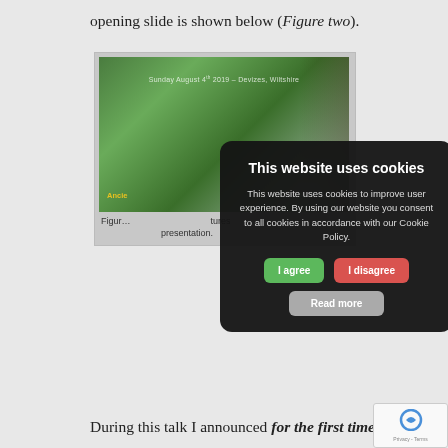opening slide is shown below (Figure two).
[Figure (screenshot): A screenshot showing a presentation slide with a woodland/forest background image partially obscured by a cookie consent modal dialog. The slide shows 'Sunday August 4th 2019 – Devizes, Wiltshire' text and partial text at the bottom. The cookie modal has a dark background with title 'This website uses cookies', body text about cookie policy, and three buttons: 'I agree' (green), 'I disagree' (red), and 'Read more' (grey).]
Figure two: Opening slide of the 'Ancient futures' presentation.
During this talk I announced for the first time